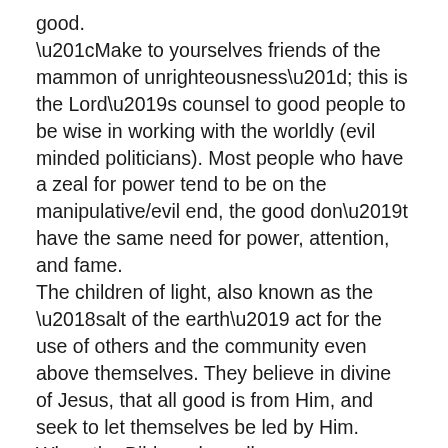good.
“Make to yourselves friends of the mammon of unrighteousness”; this is the Lord’s counsel to good people to be wise in working with the worldly (evil minded politicians). Most people who have a zeal for power tend to be on the manipulative/evil end, the good don’t have the same need for power, attention, and fame.
The children of light, also known as the ‘salt of the earth’ act for the use of others and the community even above themselves. They believe in divine of Jesus, that all good is from Him, and seek to let themselves be led by Him.
When the Bible awkwardly says ‘children of world are wiser than children of light’; its not literal, it means God uses both for HIS purpose, but those of the world are more zealous and ambitious for self so they are more often in high position. They are used by God to get